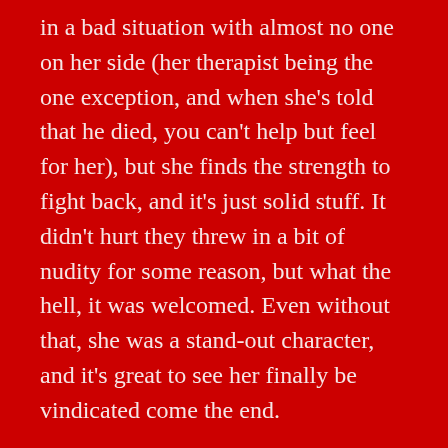in a bad situation with almost no one on her side (her therapist being the one exception, and when she's told that he died, you can't help but feel for her), but she finds the strength to fight back, and it's just solid stuff. It didn't hurt they threw in a bit of nudity for some reason, but what the hell, it was welcomed. Even without that, she was a stand-out character, and it's great to see her finally be vindicated come the end.
Related, she has a somewhat solid resume of horror films, such as the somewhat underrated Popcorn, co-starred in the 1989 Phantom of the Opera with Robert Englund, along with appearing in Curse II: The Bite, Cutting Class, Chiller, and When a Stranger Calls Back. She never seemed to reach A-list status, but she certainly had her fans, and though